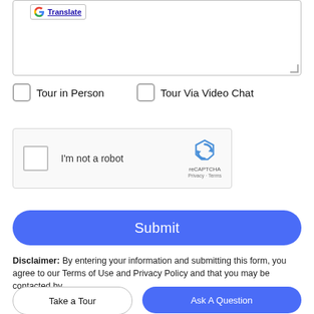[Figure (screenshot): Google Translate badge with G logo in top-left of a textarea form field]
Tour in Person
Tour Via Video Chat
[Figure (screenshot): reCAPTCHA widget with checkbox labeled I'm not a robot and reCAPTCHA logo with Privacy - Terms text]
Submit
Disclaimer: By entering your information and submitting this form, you agree to our Terms of Use and Privacy Policy and that you may be contacted by
Take a Tour
Ask A Question